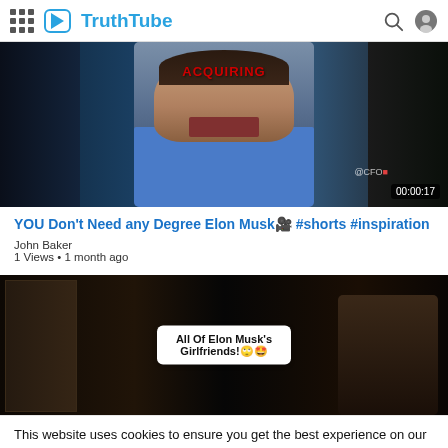TruthTube
[Figure (screenshot): Video thumbnail showing man in blue shirt, text 'ACQUIRING' in red at top, '@CFO' watermark, timestamp 00:00:17]
YOU Don't Need any Degree Elon Musk🎥 #shorts #inspiration
John Baker
1 Views • 1 month ago
[Figure (screenshot): Dark video thumbnail with white overlay box reading 'All Of Elon Musk's Girlfriends!🙄🤩']
This website uses cookies to ensure you get the best experience on our website. Learn More
[Figure (screenshot): Dark video thumbnail, partially visible, with text 'Did you know this?🤩']